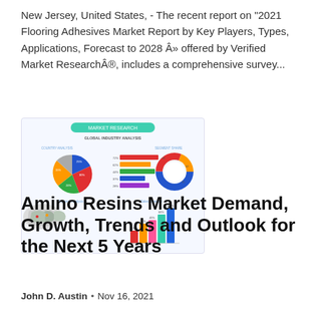New Jersey, United States, - The recent report on "2021 Flooring Adhesives Market Report by Key Players, Types, Applications, Forecast to 2028 Â» offered by Verified Market ResearchÂ®, includes a comprehensive survey...
[Figure (infographic): Market research infographic showing pie charts, bar charts, a world map, and grouped bar chart under the heading GLOBAL INDUSTRY ANALYSIS]
Amino Resins Market Demand, Growth, Trends and Outlook for the Next 5 Years
John D. Austin  •  Nov 16, 2021